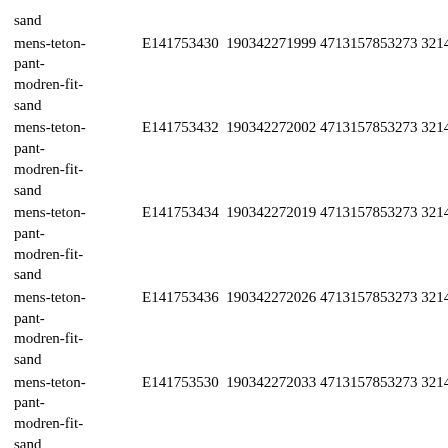sand
mens-teton-pant-modren-fit-sand  E141753430  190342271999 4713157853273 3214892
mens-teton-pant-modren-fit-sand  E141753432  190342272002 4713157853273 3214892
mens-teton-pant-modren-fit-sand  E141753434  190342272019 4713157853273 3214892
mens-teton-pant-modren-fit-sand  E141753436  190342272026 4713157853273 3214892
mens-teton-pant-modren-fit-sand  E141753530  190342272033 4713157853273 3214892
mens-teton-pant-modren-fit-sand  E141753532  190342272040 4713157853273 3214892